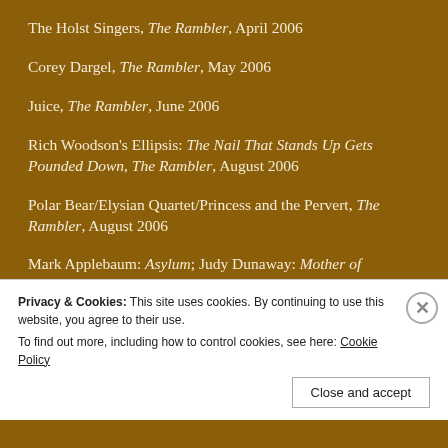The Holst Singers, The Rambler, April 2006
Corey Dargel, The Rambler, May 2006
Juice, The Rambler, June 2006
Rich Woodson's Ellipsis: The Nail That Stands Up Gets Pounded Down, The Rambler, August 2006
Polar Bear/Elysian Quartet/Princess and the Pervert, The Rambler, August 2006
Mark Applebaum: Asylum; Judy Dunaway: Mother of
Privacy & Cookies: This site uses cookies. By continuing to use this website, you agree to their use. To find out more, including how to control cookies, see here: Cookie Policy